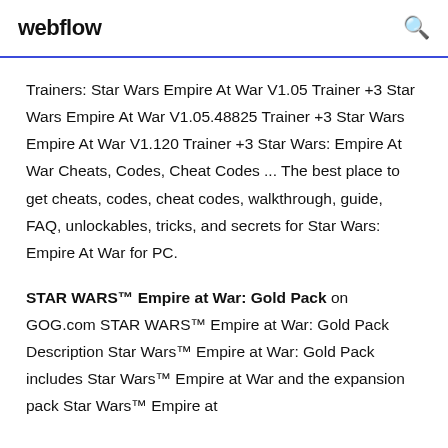webflow
Trainers: Star Wars Empire At War V1.05 Trainer +3 Star Wars Empire At War V1.05.48825 Trainer +3 Star Wars Empire At War V1.120 Trainer +3 Star Wars: Empire At War Cheats, Codes, Cheat Codes ... The best place to get cheats, codes, cheat codes, walkthrough, guide, FAQ, unlockables, tricks, and secrets for Star Wars: Empire At War for PC.
STAR WARS™ Empire at War: Gold Pack on GOG.com STAR WARS™ Empire at War: Gold Pack Description Star Wars™ Empire at War: Gold Pack includes Star Wars™ Empire at War and the expansion pack Star Wars™ Empire at